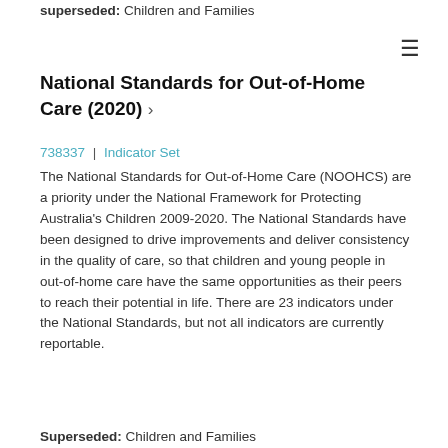superseded: Children and Families
National Standards for Out-of-Home Care (2020) ›
738337 | Indicator Set
The National Standards for Out-of-Home Care (NOOHCS) are a priority under the National Framework for Protecting Australia's Children 2009-2020. The National Standards have been designed to drive improvements and deliver consistency in the quality of care, so that children and young people in out-of-home care have the same opportunities as their peers to reach their potential in life. There are 23 indicators under the National Standards, but not all indicators are currently reportable.
Superseded: Children and Families